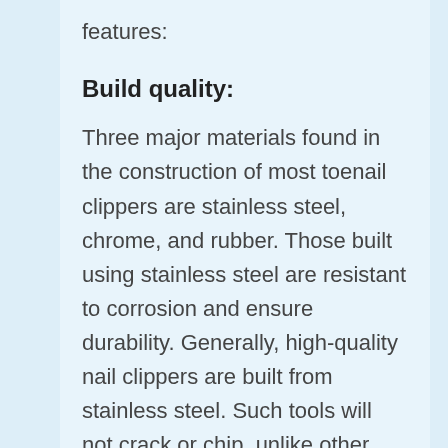features:
Build quality:
Three major materials found in the construction of most toenail clippers are stainless steel, chrome, and rubber. Those built using stainless steel are resistant to corrosion and ensure durability. Generally, high-quality nail clippers are built from stainless steel. Such tools will not crack or chip, unlike other materials.